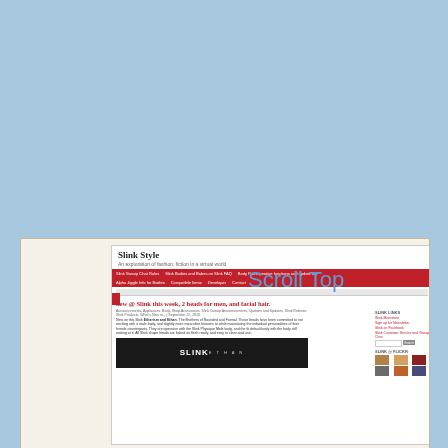[Figure (screenshot): Screenshot of 'Slink Style' fashion website showing header with red navigation bar, article titled 'new @ Slink this week, 2 heads for men, and facial hair.' with body text and a dark image showing SLINK ETHAN text, plus a sidebar with links and image grid]
Scroll Top